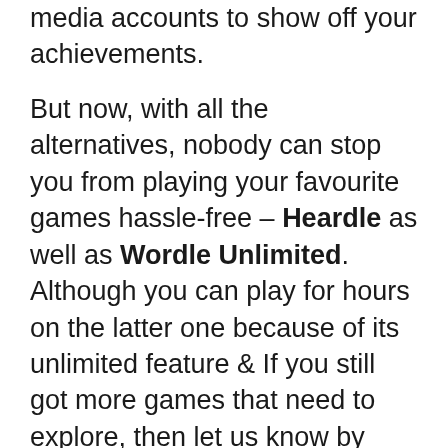media accounts to show off your achievements.
But now, with all the alternatives, nobody can stop you from playing your favourite games hassle-free – Heardle as well as Wordle Unlimited. Although you can play for hours on the latter one because of its unlimited feature & If you still got more games that need to explore, then let us know by using comment box & for more exciting & helpful content please Bookmarks our page. Thank you!!